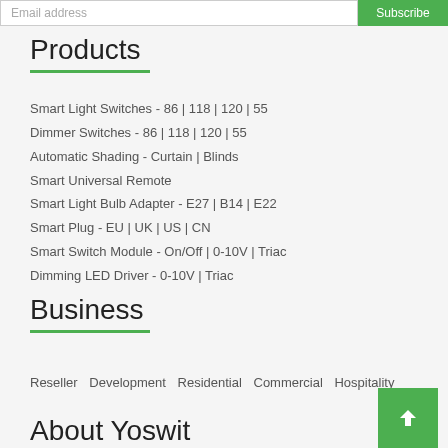Email address | Subscribe
Products
Smart Light Switches - 86 | 118 | 120 | 55
Dimmer Switches - 86 | 118 | 120 | 55
Automatic Shading - Curtain | Blinds
Smart Universal Remote
Smart Light Bulb Adapter - E27 | B14 | E22
Smart Plug - EU | UK | US | CN
Smart Switch Module - On/Off | 0-10V | Triac
Dimming LED Driver - 0-10V | Triac
Business
Reseller  Development  Residential  Commercial  Hospitality
About Yoswit